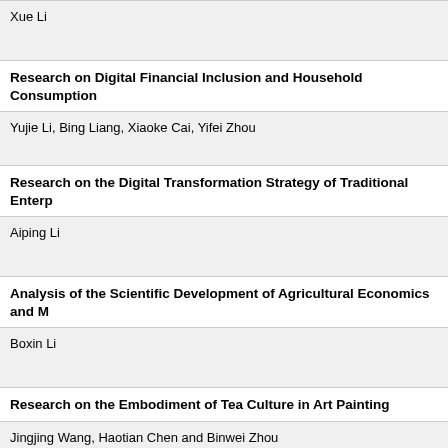Xue Li
Research on Digital Financial Inclusion and Household Consumption
Yujie Li, Bing Liang, Xiaoke Cai, Yifei Zhou
Research on the Digital Transformation Strategy of Traditional Enterprises
Aiping Li
Analysis of the Scientific Development of Agricultural Economics and Management
Boxin Li
Research on the Embodiment of Tea Culture in Art Painting
Jingjing Wang, Haotian Chen and Binwei Zhou
Optimization of Supplier Selection Model based on Game Theory Integrated
Jingqi Dai, Huiying Dai, Yutong Zhu, Rujing Zhan, Cai Chen, Liangliang Y